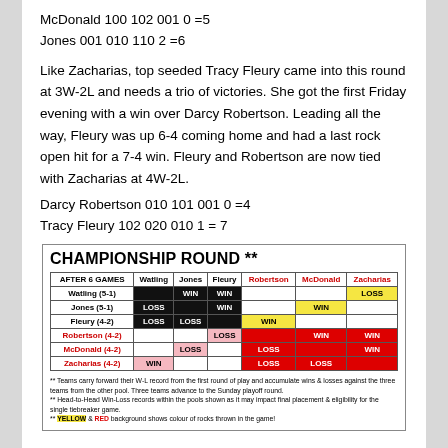McDonald 100 102 001 0 =5
Jones 001 010 110 2 =6
Like Zacharias, top seeded Tracy Fleury came into this round at 3W-2L and needs a trio of victories. She got the first Friday evening with a win over Darcy Robertson. Leading all the way, Fleury was up 6-4 coming home and had a last rock open hit for a 7-4 win. Fleury and Robertson are now tied with Zacharias at 4W-2L.
Darcy Robertson 010 101 001 0 =4
Tracy Fleury 102 020 010 1 = 7
| AFTER 6 GAMES | Watling | Jones | Fleury | Robertson | McDonald | Zacharias |
| --- | --- | --- | --- | --- | --- | --- |
| Watling (5-1) |  | WIN | WIN |  |  | LOSS |
| Jones (5-1) | LOSS |  | WIN |  | WIN |  |
| Fleury (4-2) | LOSS | LOSS |  | WIN |  |  |
| Robertson (4-2) |  |  | LOSS |  | WIN | WIN |
| McDonald (4-2) |  | LOSS |  | LOSS |  | WIN |
| Zacharias (4-2) | WIN |  |  | LOSS | LOSS |  |
** Teams carry forward their W-L record from the first round of play and accumulate wins & losses against the three teams from the other pool. Three teams advance to the Sunday playoff round.
** Head-to-Head Win-Loss records within the pools shown as it may impact final placement & eligibility for the single tiebreaker game.
** YELLOW & RED background shows colour of rocks thrown in the game!